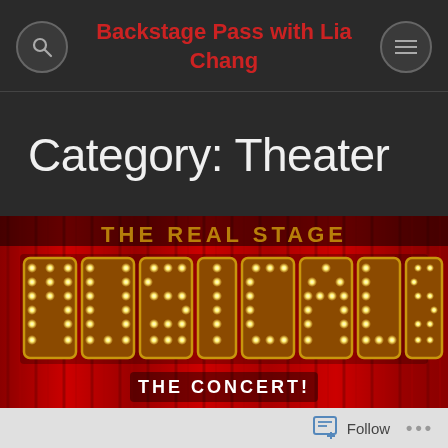Backstage Pass with Lia Chang
Category: Theater
[Figure (photo): Marquee sign reading 'MUSICALS THE CONCERT!' with decorative light bulb letters against red curtain backdrop]
Follow